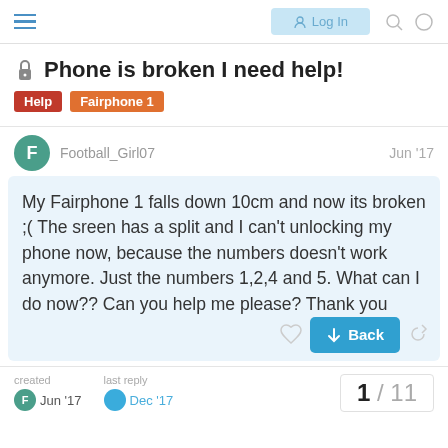Log In
🔒 Phone is broken I need help!
Help  Fairphone 1
Football_Girl07  Jun '17
My Fairphone 1 falls down 10cm and now its broken ;( The sreen has a split and I can't unlocking my phone now, because the numbers doesn't work anymore. Just the numbers 1,2,4 and 5. What can I do now?? Can you help me please? Thank you
created Jun '17  last reply Dec '17  1 / 11